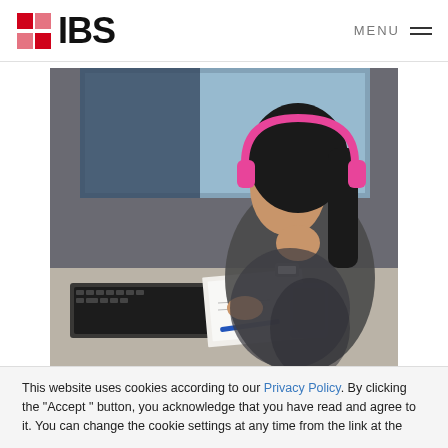IBS — MENU
[Figure (photo): Woman with pink headphones sitting at a desk working on a computer, with a keyboard, papers, and a pen visible on the desk.]
This website uses cookies according to our Privacy Policy. By clicking the "Accept" button, you acknowledge that you have read and agree to it. You can change the cookie settings at any time from the link at the